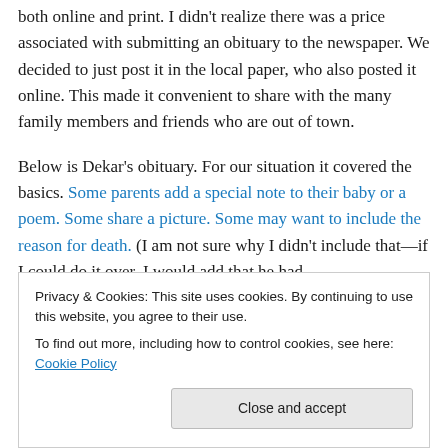both online and print.  I didn't realize there was a price associated with submitting an obituary to the newspaper.  We decided to just post it in the local paper, who also posted it online.  This made it convenient to share with the many family members and friends who are out of town.
Below is Dekar's obituary.  For our situation it covered the basics.  Some parents add a special note to their baby or a poem.  Some share a picture.  Some may want to include the reason for death.  (I am not sure why I didn't include that—if I could do it over, I would add that he had Trisomy 18 and hypoplastic left heart syndrome.)
Trisomy 18 and hypoplastic left heart syndrome.)
Privacy & Cookies: This site uses cookies. By continuing to use this website, you agree to their use.
To find out more, including how to control cookies, see here: Cookie Policy